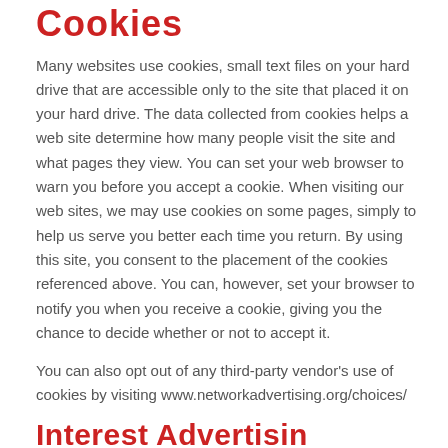Cookies
Many websites use cookies, small text files on your hard drive that are accessible only to the site that placed it on your hard drive. The data collected from cookies helps a web site determine how many people visit the site and what pages they view. You can set your web browser to warn you before you accept a cookie. When visiting our web sites, we may use cookies on some pages, simply to help us serve you better each time you return. By using this site, you consent to the placement of the cookies referenced above. You can, however, set your browser to notify you when you receive a cookie, giving you the chance to decide whether or not to accept it.
You can also opt out of any third-party vendor's use of cookies by visiting www.networkadvertising.org/choices/
Interest Advertising